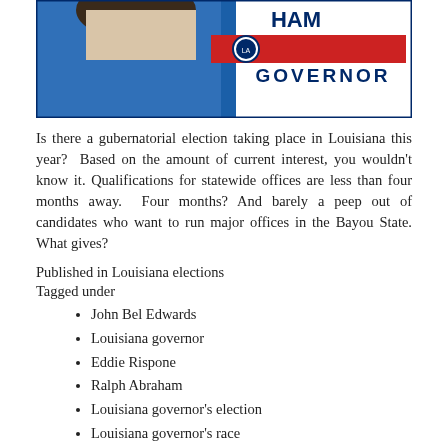[Figure (photo): Campaign sign image showing 'ABRAHAM GOVERNOR' with Louisiana state seal, red and blue colors, and partial image of a person]
Is there a gubernatorial election taking place in Louisiana this year? Based on the amount of current interest, you wouldn't know it. Qualifications for statewide offices are less than four months away. Four months? And barely a peep out of candidates who want to run major offices in the Bayou State. What gives?
Published in Louisiana elections
Tagged under
John Bel Edwards
Louisiana governor
Eddie Rispone
Ralph Abraham
Louisiana governor's election
Louisiana governor's race
Read more...
Friday, 12 April 2019 13:48